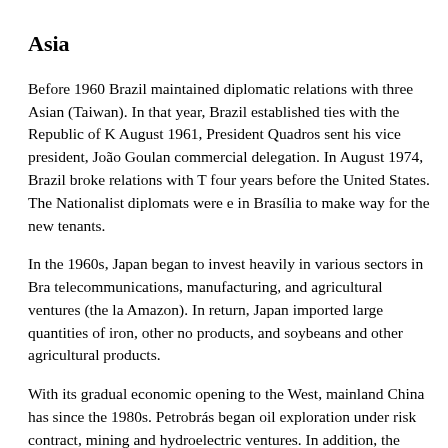Asia
Before 1960 Brazil maintained diplomatic relations with three Asian (Taiwan). In that year, Brazil established ties with the Republic of K August 1961, President Quadros sent his vice president, João Goulan commercial delegation. In August 1974, Brazil broke relations with T four years before the United States. The Nationalist diplomats were e in Brasília to make way for the new tenants.
In the 1960s, Japan began to invest heavily in various sectors in Bra telecommunications, manufacturing, and agricultural ventures (the la Amazon). In return, Japan imported large quantities of iron, other no products, and soybeans and other agricultural products.
With its gradual economic opening to the West, mainland China has since the 1980s. Petrobrás began oil exploration under risk contract, mining and hydroelectric ventures. In addition, the Chinese have pur steel plate.
In mid-1995 the Socialist Republic of Vietnam signaled a desire for Thailand as middleman. President General Le Duc Anh visited Braz in the second half of 1995. Brazil's opening to Vietnam was made w strategy and its view that Vietnam may soon become an "Asian Tige